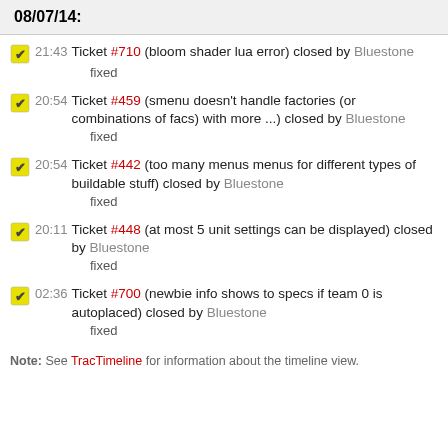08/07/14:
21:43 Ticket #710 (bloom shader lua error) closed by Bluestone
fixed
20:54 Ticket #459 (smenu doesn't handle factories (or combinations of facs) with more ...) closed by Bluestone
fixed
20:54 Ticket #442 (too many menus menus for different types of buildable stuff) closed by Bluestone
fixed
20:11 Ticket #448 (at most 5 unit settings can be displayed) closed by Bluestone
fixed
02:36 Ticket #700 (newbie info shows to specs if team 0 is autoplaced) closed by Bluestone
fixed
Note: See TracTimeline for information about the timeline view.